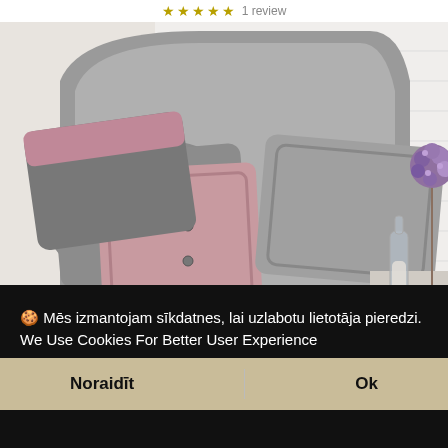★★★★½ 1 review
[Figure (photo): Bedroom scene with a grey upholstered bed headboard, grey and pink linen pillows with button details, and a bedside table with a purple dried flower arrangement and glass bottle decor.]
🍪 Mēs izmantojam sīkdatnes, lai uzlabotu lietotāja pieredzi. We Use Cookies For Better User Experience
Uzzināt vairāk
Noraidīt
Ok
☆☆☆☆☆ No reviews